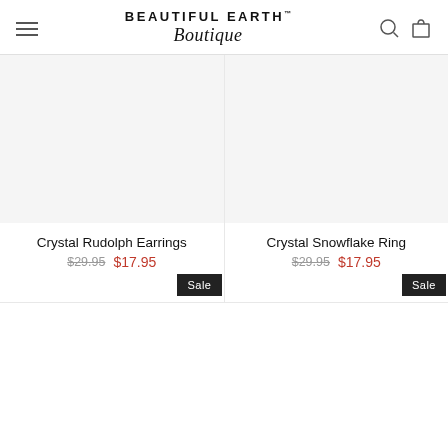BEAUTIFUL EARTH™ Boutique
Crystal Rudolph Earrings $29.95 $17.95
Crystal Snowflake Ring $29.95 $17.95
Sale
Sale